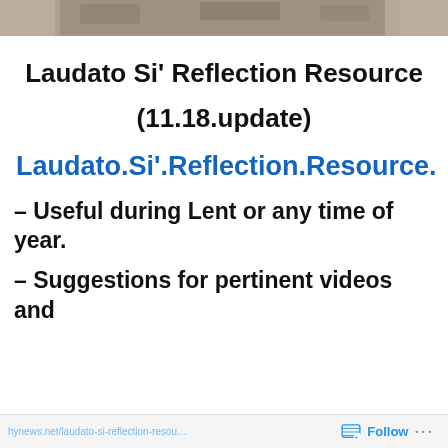[Figure (photo): Partial photo strip at the top showing soil or earth texture, cropped]
Laudato Si' Reflection Resource
(11.18.update)
Laudato.Si'.Reflection.Resource.
– Useful during Lent or any time of year.
– Suggestions for pertinent videos and
Follow